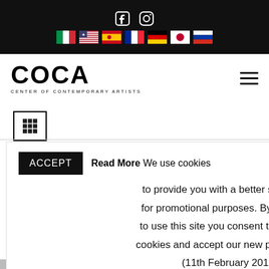COCA - Center of Contemporary Artists website header with social icons, language flags, logo, and hamburger menu
[Figure (screenshot): Website header: black top bar with Facebook and Instagram icons and language flag icons (Italy, USA, Spain, France, Germany, Japan, Russia); COCA logo with 'CENTER OF CONTEMPORARY ARTISTS' tagline; hamburger menu icon; grid view icon; cookie consent banner; partial sky photo]
ACCEPT  Read More We use cookies to provide you with a better service and for promotional purposes. By continuing to use this site you consent to our use of cookies and accept our new privacy policy (11th February 2019).